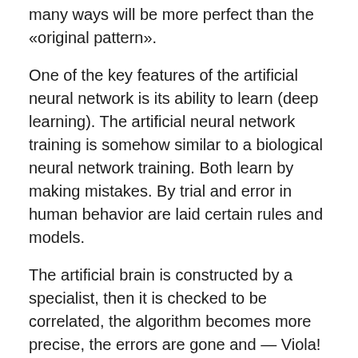many ways will be more perfect than the «original pattern».
One of the key features of the artificial neural network is its ability to learn (deep learning). The artificial neural network training is somehow similar to a biological neural network training. Both learn by making mistakes. By trial and error in human behavior are laid certain rules and models.
The artificial brain is constructed by a specialist, then it is checked to be correlated, the algorithm becomes more precise, the errors are gone and — Viola! — The algorithm is set to perform a specific function.
Remember, we talked about the network fragments-areas, which are responsible for different functions? The same happens with the artificial neural network. The only difference is that each fragment of the artificial neural network is responsible for only one